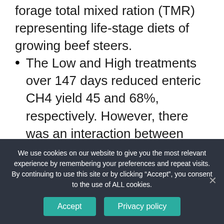forage total mixed ration (TMR) representing life-stage diets of growing beef steers.
The Low and High treatments over 147 days reduced enteric CH4 yield 45 and 68%, respectively. However, there was an interaction between TMR type and the magnitude of CH4 yield reduction. Supplementing low forage TMR reduced CH4 yield 69.8% for Low and 80% for High treatments.
Hydrogen yield increased 336 and
We use cookies on our website to give you the most relevant experience by remembering your preferences and repeat visits. By continuing to use this site or by clicking “Accept”, you consent to the use of ALL cookies.